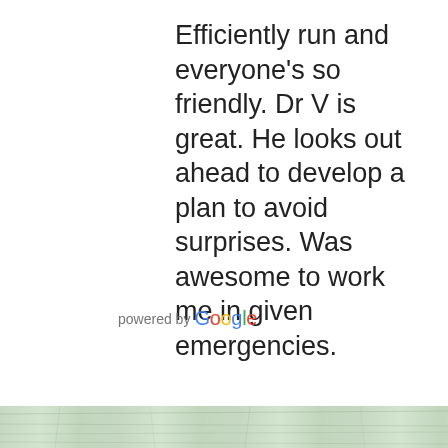Efficiently run and everyone's so friendly. Dr V is great. He looks out ahead to develop a plan to avoid surprises. Was awesome to work me in given emergencies.
[Figure (logo): powered by Google logo]